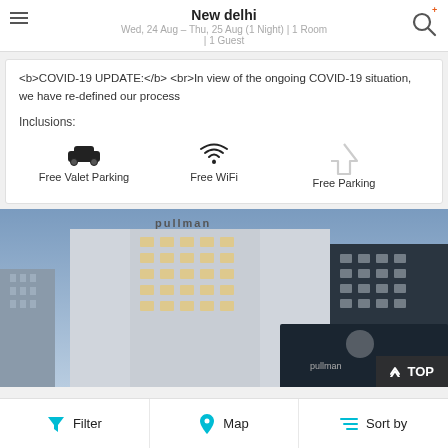New delhi
Wed, 24 Aug – Thu, 25 Aug (1 Night) | 1 Room | 1 Guest
<b>COVID-19 UPDATE:</b> <br>In view of the ongoing COVID-19 situation, we have re-defined our process
Inclusions:
Free Valet Parking   Free WiFi   Free Parking
[Figure (photo): Photo of Pullman hotel building exterior at dusk, modern architecture with large glass windows and illuminated interiors]
Filter   Map   Sort by